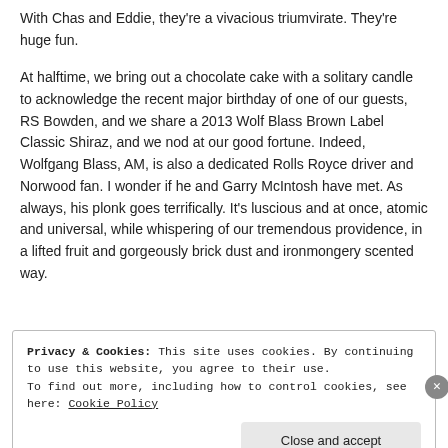With Chas and Eddie, they're a vivacious triumvirate. They're huge fun.
At halftime, we bring out a chocolate cake with a solitary candle to acknowledge the recent major birthday of one of our guests, RS Bowden, and we share a 2013 Wolf Blass Brown Label Classic Shiraz, and we nod at our good fortune. Indeed, Wolfgang Blass, AM, is also a dedicated Rolls Royce driver and Norwood fan. I wonder if he and Garry McIntosh have met. As always, his plonk goes terrifically. It's luscious and at once, atomic and universal, while whispering of our tremendous providence, in a lifted fruit and gorgeously brick dust and ironmongery scented way.
Privacy & Cookies: This site uses cookies. By continuing to use this website, you agree to their use. To find out more, including how to control cookies, see here: Cookie Policy